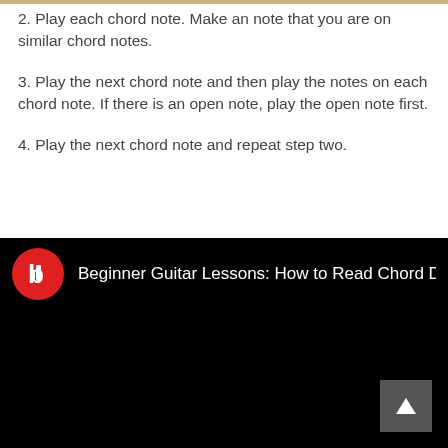2. Play each chord note. Make an note that you are on similar chord notes.
3. Play the next chord note and then play the notes on each chord note. If there is an open note, play the open note first.
4. Play the next chord note and repeat step two.
[Figure (screenshot): Video thumbnail for 'Beginner Guitar Lessons: How to Read Chord D' with a red circular logo on black background showing a stylized 'b' icon.]